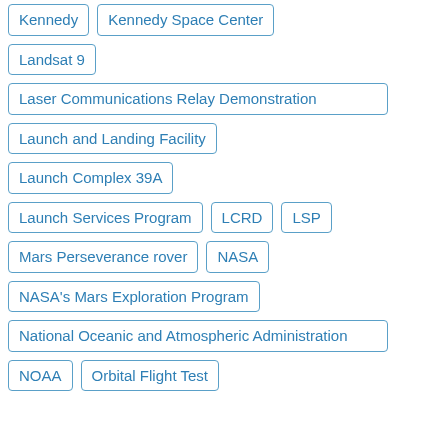Kennedy
Kennedy Space Center
Landsat 9
Laser Communications Relay Demonstration
Launch and Landing Facility
Launch Complex 39A
Launch Services Program
LCRD
LSP
Mars Perseverance rover
NASA
NASA's Mars Exploration Program
National Oceanic and Atmospheric Administration
NOAA
Orbital Flight Test